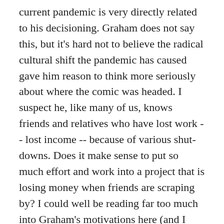current pandemic is very directly related to his decisioning. Graham does not say this, but it's hard not to believe the radical cultural shift the pandemic has caused gave him reason to think more seriously about where the comic was headed. I suspect he, like many of us, knows friends and relatives who have lost work -- lost income -- because of various shut-downs. Does it make sense to put so much effort and work into a project that is losing money when friends are scraping by? I could well be reading far too much into Graham's motivations here (and I apologize to Graham if I am) but I am certain the radical change we've all experienced in the past few months has given rise to re-evaluating what is/isn't working in his life. I think everybody has done this to some degree.